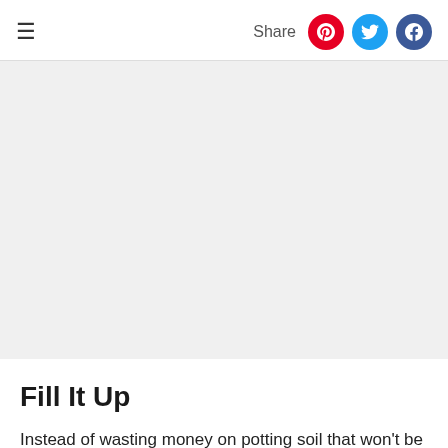☰  Share
[Figure (photo): Light gray placeholder image area representing a photo or advertisement]
Fill It Up
Instead of wasting money on potting soil that won't be